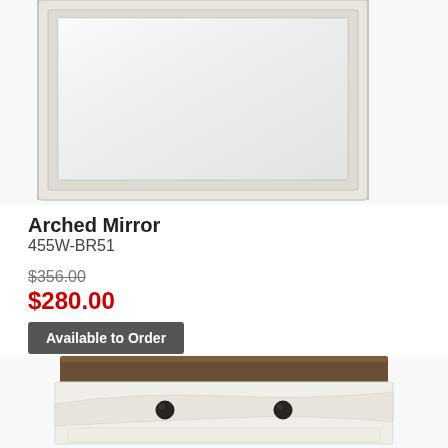[Figure (photo): Arched mirror with white/cream frame, rectangular shape, photographed against white background — top portion cropped]
Arched Mirror
455W-BR51
$356.00 (strikethrough original price)
$280.00 (sale price in red)
Available to Order
[Figure (photo): Bottom portion of a white/cream bedroom bench or chest with dark brown top surface and two dark round knobs, white base with decorative molding]